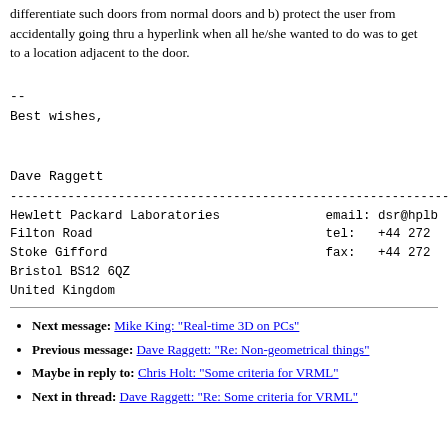differentiate such doors from normal doors and b) protect the user from accidentally going thru a hyperlink when all he/she wanted to do was to get to a location adjacent to the door.
--
Best wishes,

Dave Raggett
------------------------------------------------------------
Hewlett Packard Laboratories    email: dsr@hplb
Filton Road                      tel:   +44 272
Stoke Gifford                    fax:   +44 272
Bristol BS12 6QZ
United Kingdom
Next message: Mike King: "Real-time 3D on PCs"
Previous message: Dave Raggett: "Re: Non-geometrical things"
Maybe in reply to: Chris Holt: "Some criteria for VRML"
Next in thread: Dave Raggett: "Re: Some criteria for VRML"